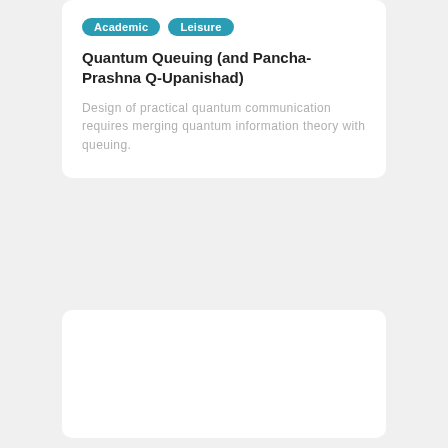Academic | Leisure
Quantum Queuing (and Pancha-Prashna Q-Upanishad)
Design of practical quantum communication requires merging quantum information theory with queuing.